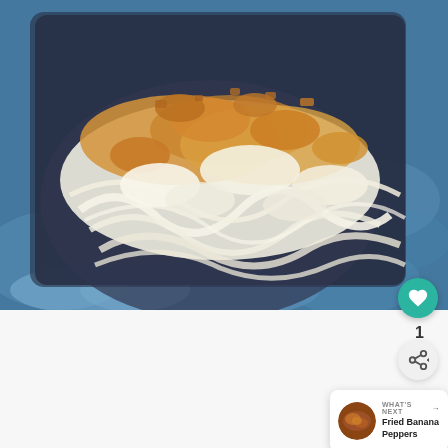[Figure (photo): Food photo showing shredded white and golden-orange dish (possibly cheesy or coconut-topped food) served on a dark rectangular plate, set on a blue textured surface]
[Figure (photo): Thumbnail photo of Fried Banana Peppers for the 'What's Next' card]
1
WHAT'S NEXT → Fried Banana Peppers